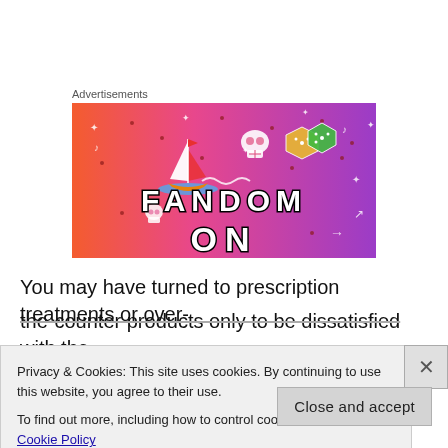Advertisements
[Figure (illustration): Fandom advertisement banner with colorful gradient background (orange to purple), featuring illustrated icons (sailboat, skull, dice, musical notes, stars, arrows) and bold text reading 'FANDOM ON']
You may have turned to prescription treatments or over-the-counter products only to be dissatisfied with the
Privacy & Cookies: This site uses cookies. By continuing to use this website, you agree to their use.
To find out more, including how to control cookies, see here: Cookie Policy
Close and accept